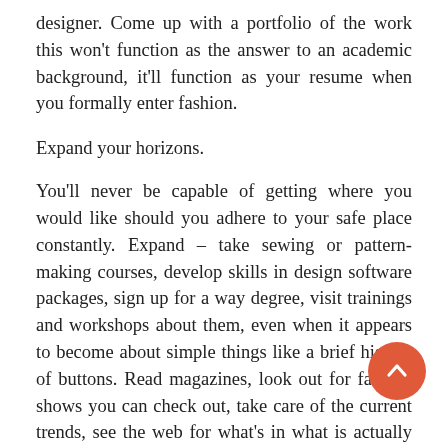designer. Come up with a portfolio of the work this won't function as the answer to an academic background, it'll function as your resume when you formally enter fashion.
Expand your horizons.
You'll never be capable of getting where you would like should you adhere to your safe place constantly. Expand – take sewing or pattern-making courses, develop skills in design software packages, sign up for a way degree, visit trainings and workshops about them, even when it appears to become about simple things like a brief history of buttons. Read magazines, look out for fashion shows you can check out, take care of the current trends, see the web for what's in what is actually what in popular culture, exactly what the controversies have been in fashion and so forth. This really is all essential in how to be a way designer, because you need to be constantly updated so you are aware what you are stepping into and just